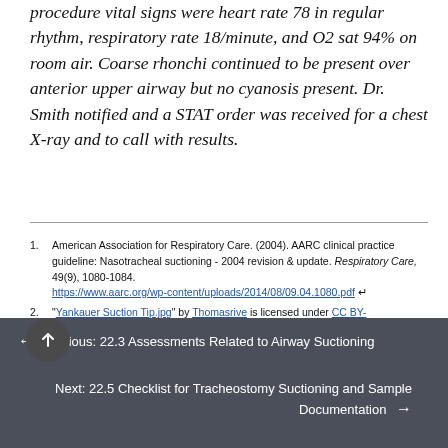procedure vital signs were heart rate 78 in regular rhythm, respiratory rate 18/minute, and O2 sat 94% on room air. Coarse rhonchi continued to be present over anterior upper airway but no cyanosis present. Dr. Smith notified and a STAT order was received for a chest X-ray and to call with results.
1. American Association for Respiratory Care. (2004). AARC clinical practice guideline: Nasotracheal suctioning - 2004 revision & update. Respiratory Care, 49(9), 1080-1084. https://www.aarc.org/wp-content/uploads/2014/08/09.04.1080.pdf ↵
2. "Yankauer Suction Tip.jpg" by Thomasrive is licensed under CC BY-
← Previous: 22.3 Assessments Related to Airway Suctioning
Next: 22.5 Checklist for Tracheostomy Suctioning and Sample Documentation →